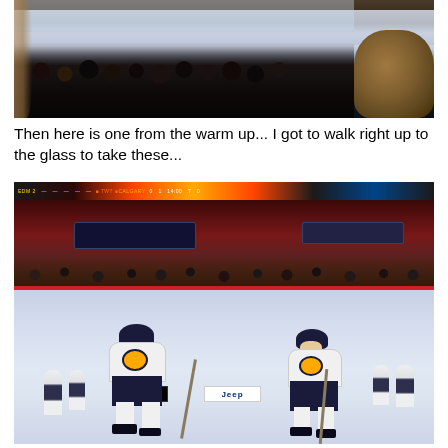[Figure (photo): Hockey game viewed from the stands, showing the ice rink with players and goalie visible through the glass, crowd of spectators in the foreground, and the back of a person wearing a brown hat in the bottom right corner.]
Then here is one from the warm up... I got to walk right up to the glass to take these...
[Figure (photo): NHL hockey players warming up on ice, taken from ice level close to the glass. Atlanta Thrashers players in white jerseys with blue accents are visible in foreground, with arena seating, scoreboard, and Jeep advertisement boards visible in the background.]